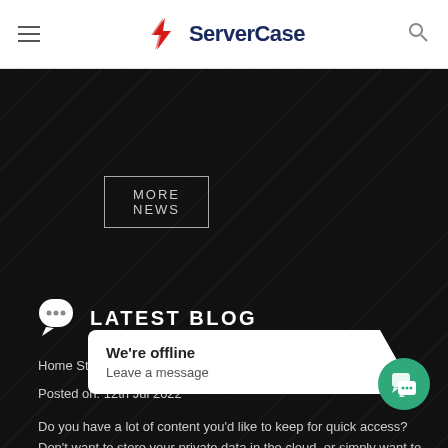ServerCase
MORE NEWS
LATEST BLOG
Home Storage Servers - What are my options?
Posted on: 12th Jul 2022
Do you have a lot of content you'd like to keep for quick access? Don’t want to store your private data in the cloud, or simply want to geek-out at having your own … chassis that allow you to … – fit every b... [...] Read
We're offline
Leave a message